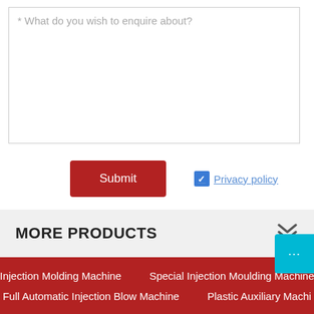* What do you wish to enquire about?
Submit
Privacy policy
MORE PRODUCTS
Injection Molding Machine    Special Injection Moulding Machine    Full Automatic Injection Blow Machine    Plastic Auxiliary Machi...
Copyright By © 2018 NINGBO SANSHUN MACHINERY & TECHNOLOGY CO.,LTD